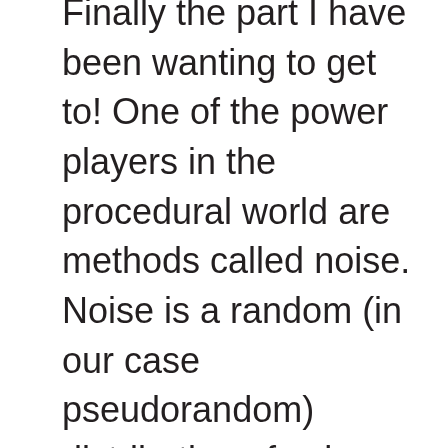Finally the part I have been wanting to get to! One of the power players in the procedural world are methods called noise. Noise is a random (in our case pseudorandom) distribution of values over a range. Normally these values range from -1 to 1, but can have other values. We use these predictably random functions to control our methods. The simplest, yet least useful to use